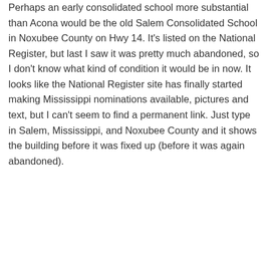Perhaps an early consolidated school more substantial than Acona would be the old Salem Consolidated School in Noxubee County on Hwy 14. It's listed on the National Register, but last I saw it was pretty much abandoned, so I don't know what kind of condition it would be in now. It looks like the National Register site has finally started making Mississippi nominations available, pictures and text, but I can't seem to find a permanent link. Just type in Salem, Mississippi, and Noxubee County and it shows the building before it was fixed up (before it was again abandoned).
★ Like
ELMalvaney
December 31, 2010 • 9:19 pm
👍 5 👎 0 ℹ Rate This
Or one that is still used, I think, as a community center, Lawrence Consolidated School in Newton County, a nice two-story Craftsman-influenced building: